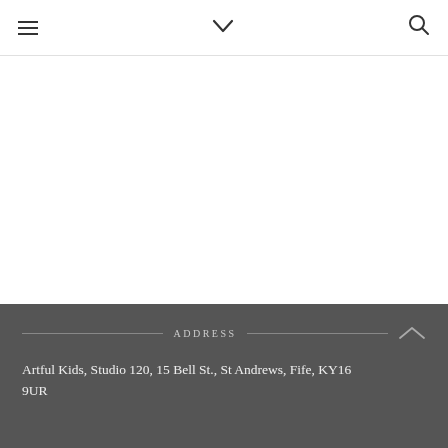≡ ∨ 🔍
ADDRESS
Artful Kids, Studio 120, 15 Bell St., St Andrews, Fife, KY16 9UR